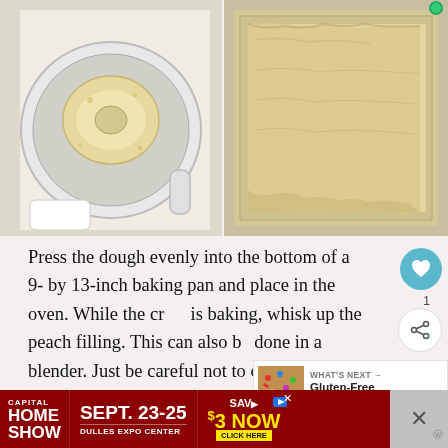[Figure (photo): Two-panel food preparation photo. Left: overhead view of a food processor bowl with a disc of dough/butter on a white surface. Right: overhead view of pressed dough/crust spread into a rectangular metal baking pan.]
Press the dough evenly into the bottom of a 9- by 13-inch baking pan and place in the oven. While the crust is baking, whisk up the peach filling. This can also be done in a blender. Just be careful not to over-mix if you use a blender because you don't want the filling to be full of air bubbles.
[Figure (infographic): What's Next panel showing a thumbnail of colorful sprinkle-covered holiday item with text 'WHAT'S NEXT → Gluten-Free Holiday...']
[Figure (infographic): Advertisement banner: Capital Home Show, Sept. 23-25, Dulles Expo Center, Save $3 Now, Click Here]